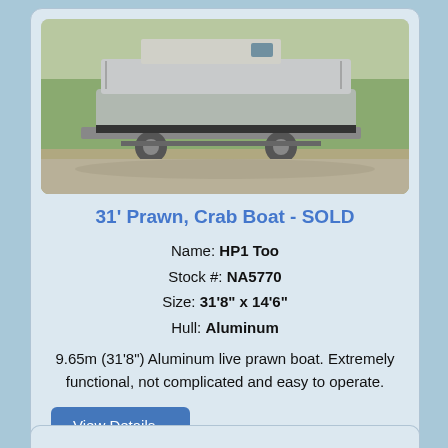[Figure (photo): Photograph of an aluminum boat on a trailer, viewed from the side/rear, on a gravel/dirt area with trees in background.]
31' Prawn, Crab Boat - SOLD
Name: HP1 Too
Stock #: NA5770
Size: 31'8" x 14'6"
Hull: Aluminum
9.65m (31'8") Aluminum live prawn boat. Extremely functional, not complicated and easy to operate.
View Details...
SOLD!